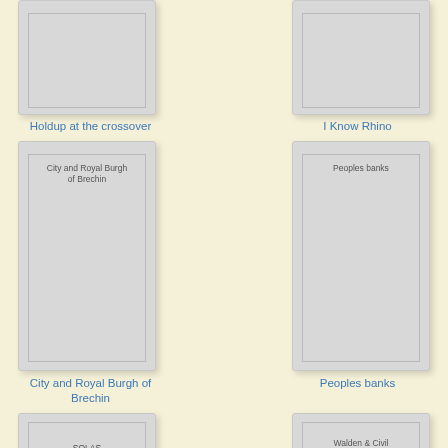[Figure (illustration): Book cover placeholder for 'Holdup at the crossover' - grey rectangle with inner border, no image]
Holdup at the crossover
[Figure (illustration): Book cover placeholder for 'I Know Rhino' - grey rectangle with inner border, no image]
I Know Rhino
[Figure (illustration): Book cover placeholder for 'City and Royal Burgh of Brechin' - grey rectangle with inner border and text label inside]
City and Royal Burgh of Brechin
[Figure (illustration): Book cover placeholder for 'Peoples banks' - grey rectangle with inner border and text label inside]
Peoples banks
[Figure (illustration): Book cover placeholder for 'SOLAS' - grey rectangle with inner border and text label inside, partially visible]
SOLAS
[Figure (illustration): Book cover placeholder for 'Walden & Civil Disobedience - The' - grey rectangle with inner border and text label inside, partially visible]
Walden & Civil Disobedience - The